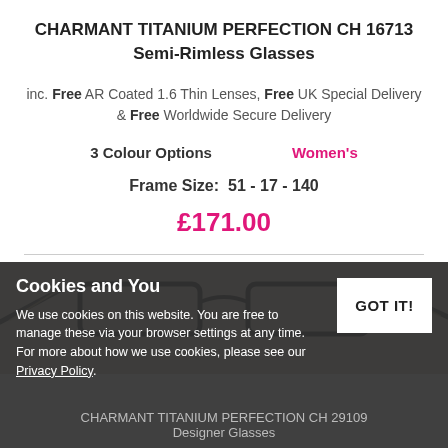CHARMANT TITANIUM PERFECTION CH 16713 Semi-Rimless Glasses
inc. Free AR Coated 1.6 Thin Lenses, Free UK Special Delivery & Free Worldwide Secure Delivery
3 Colour Options     Women's
Frame Size:  51 - 17 - 140
£171.00
[Figure (photo): Photo of semi-rimless glasses frames]
Cookies and You
We use cookies on this website. You are free to manage these via your browser settings at any time. For more about how we use cookies, please see our Privacy Policy.
GOT IT!
CHARMANT TITANIUM PERFECTION CH 29109 Designer Glasses